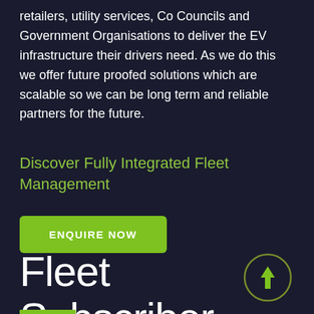retailers, utility services, Co Councils and Government Organisations to deliver the EV infrastructure their drivers need. As we do this we offer future proofed solutions which are scalable so we can be long term and reliable partners for the future.
Discover Fully Integrated Fleet Management
ENQUIRE NOW
Fleet Subscriber